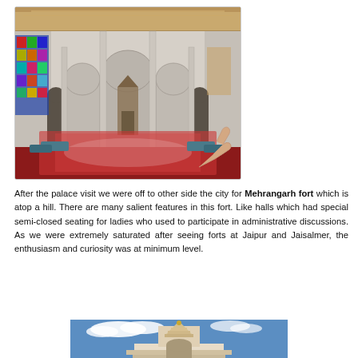[Figure (photo): Interior of a royal palace hall with white marble arched columns, ornate carved ceiling, colorful stained glass window on the left, a throne/canopy in the background, red carpet with floral pattern on the floor, cushions along the sides, and a person's hand pointing in the lower right.]
After the palace visit we were off to other side the city for Mehrangarh fort which is atop a hill. There are many salient features in this fort. Like halls which had special semi-closed seating for ladies who used to participate in administrative discussions. As we were extremely saturated after seeing forts at Jaipur and Jaisalmer, the enthusiasm and curiosity was at minimum level.
[Figure (photo): Partial view of a white temple with ornate spires against a blue sky with white clouds.]